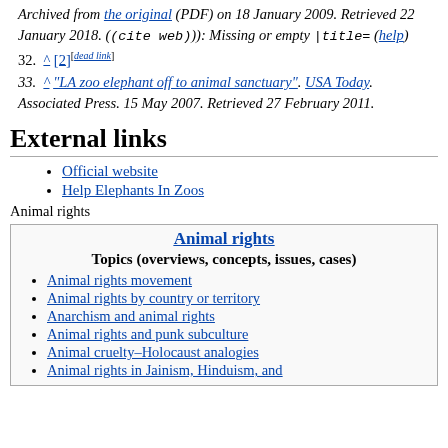Archived from the original (PDF) on 18 January 2009. Retrieved 22 January 2018. ((cite web)): Missing or empty |title= (help)
32. ^ [2][dead link]
33. ^ "LA zoo elephant off to animal sanctuary". USA Today. Associated Press. 15 May 2007. Retrieved 27 February 2011.
External links
Official website
Help Elephants In Zoos
Animal rights
Animal rights
Topics (overviews, concepts, issues, cases)
Animal rights movement
Animal rights by country or territory
Anarchism and animal rights
Animal rights and punk subculture
Animal cruelty–Holocaust analogies
Animal rights in Jainism, Hinduism, and